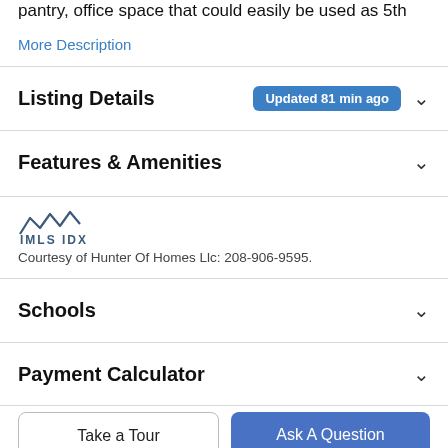pantry, office space that could easily be used as 5th
More Description
Listing Details  Updated 81 min ago
Features & Amenities
[Figure (logo): IMLS IDX logo with mountain wave marks above text]
Courtesy of Hunter Of Homes Llc: 208-906-9595.
Schools
Payment Calculator
Take a Tour
Ask A Question